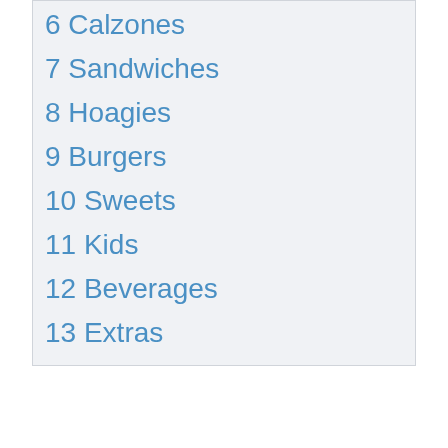6 Calzones
7 Sandwiches
8 Hoagies
9 Burgers
10 Sweets
11 Kids
12 Beverages
13 Extras